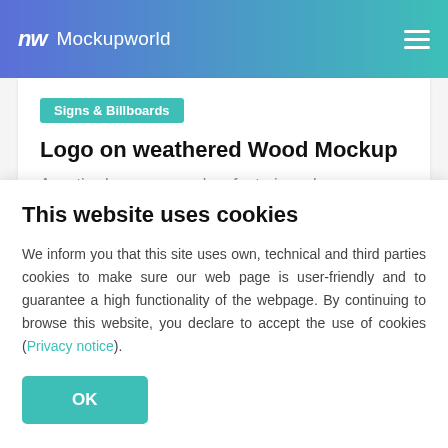Mockupworld
[Figure (screenshot): White content card showing a category badge 'Signs & Billboards', article title 'Logo on weathered Wood Mockup', and partial excerpt text.]
This website uses cookies
We inform you that this site uses own, technical and third parties cookies to make sure our web page is user-friendly and to guarantee a high functionality of the webpage. By continuing to browse this website, you declare to accept the use of cookies (Privacy notice).
OK